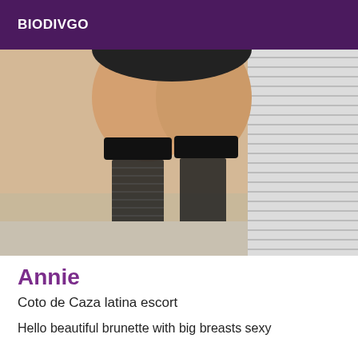BIODIVGO
[Figure (photo): A person wearing black fishnet stockings and lace top thigh-highs, kneeling on a bed near a window with white blinds.]
Annie
Coto de Caza latina escort
Hello beautiful brunette with big breasts sexy